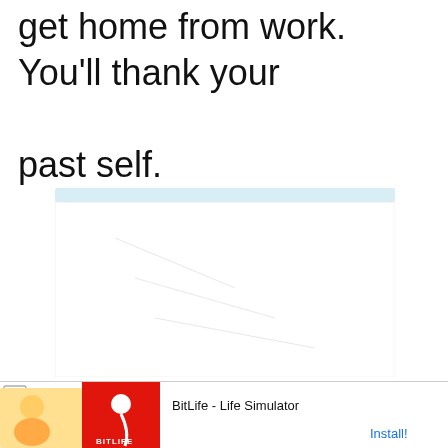get home from work. You'll thank your past self.
[Figure (other): Embedded ad or video player area with light blue top bar and white content region with faint watermark-like graphics]
[Figure (other): Mobile banner advertisement for BitLife - Life Simulator app with Ad badge, mascot illustration, red BITLIFE logo, app name, and Install button]